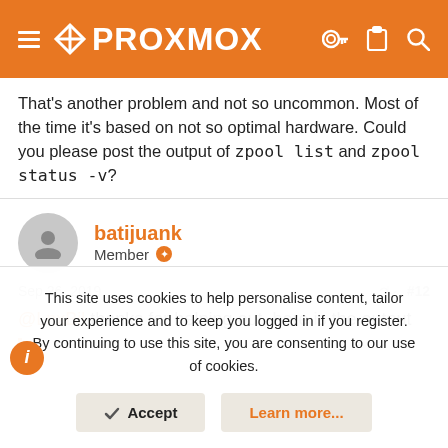PROXMOX
That's another problem and not so uncommon. Most of the time it's based on not so optimal hardware. Could you please post the output of zpool list and zpool status -v?
batijuank
Member
Sep 26, 2019  #12
@LnxBil thanks for helping out, here is the output
This site uses cookies to help personalise content, tailor your experience and to keep you logged in if you register.
By continuing to use this site, you are consenting to our use of cookies.